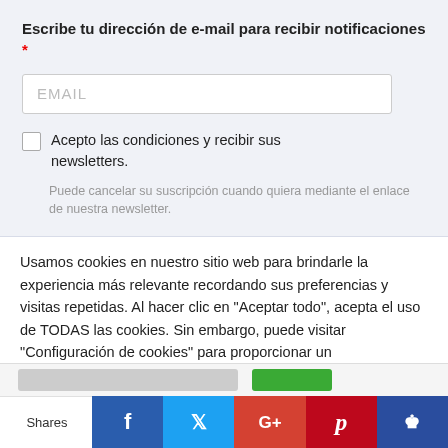Escribe tu dirección de e-mail para recibir notificaciones *
[Figure (other): Email input field with placeholder text EMAIL]
Acepto las condiciones y recibir sus newsletters.
Puede cancelar su suscripción cuando quiera mediante el enlace de nuestra newsletter.
Usamos cookies en nuestro sitio web para brindarle la experiencia más relevante recordando sus preferencias y visitas repetidas. Al hacer clic en "Aceptar todo", acepta el uso de TODAS las cookies. Sin embargo, puede visitar "Configuración de cookies" para proporcionar un consentimiento controlado.
No vender mi información personal.
Shares | Facebook | Twitter | G+ | Pinterest | Crown